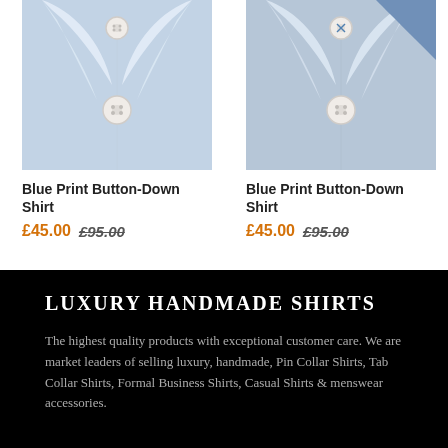[Figure (photo): Close-up photo of a blue print button-down shirt collar with white buttons]
Blue Print Button-Down Shirt
£45.00 £95.00
[Figure (photo): Close-up photo of a blue print button-down shirt collar with white buttons]
Blue Print Button-Down Shirt
£45.00 £95.00
LUXURY HANDMADE SHIRTS
The highest quality products with exceptional customer care. We are market leaders of selling luxury, handmade, Pin Collar Shirts, Tab Collar Shirts, Formal Business Shirts, Casual Shirts & menswear accessories.